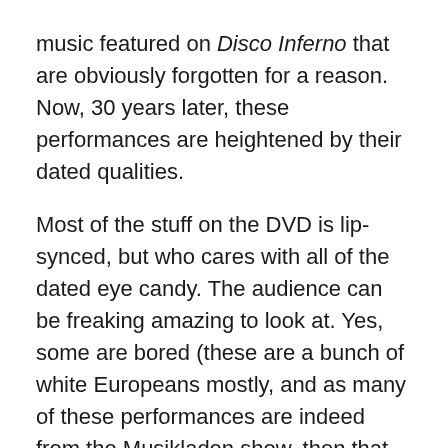music featured on Disco Inferno that are obviously forgotten for a reason. Now, 30 years later, these performances are heightened by their dated qualities.
Most of the stuff on the DVD is lip-synced, but who cares with all of the dated eye candy. The audience can be freaking amazing to look at. Yes, some are bored (these are a bunch of white Europeans mostly, and as many of these performances are indeed from the Musikladen show, then that means they are Germans, so what would you expect! [I'm half German, so I can make that joke]). But the dated style of what was cool in the discotheques is extraordinary. Dancing behind Donna Summer, on one track, there's a guy dressed as a farmer and another guy in a running outfit and a trucker's cap! Also, I must admit it's cool to see the bra-optional fashions seen in clips by the Gap Band and his place (the noted band, in the latt...